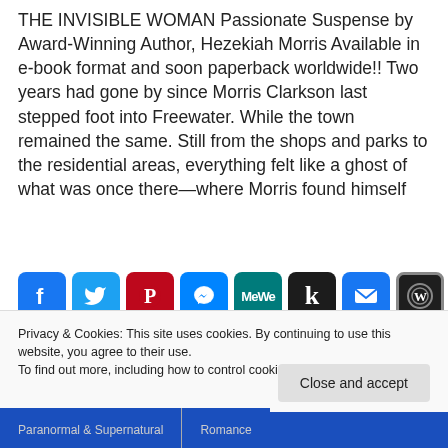THE INVISIBLE WOMAN Passionate Suspense by Award-Winning Author, Hezekiah Morris Available in e-book format and soon paperback worldwide!! Two years had gone by since Morris Clarkson last stepped foot into Freewater. While the town remained the same. Still from the shops and parks to the residential areas, everything felt like a ghost of what was once there—where Morris found himself
[Figure (infographic): Row of social media share buttons: Facebook (blue), Twitter (blue), Pinterest (red), Messenger (blue), MeWe (teal), Klout (black), Email (blue), WordPress (dark with ring icon), Share/Plus (blue)]
READ MORE
Privacy & Cookies: This site uses cookies. By continuing to use this website, you agree to their use.
To find out more, including how to control cookies, see here: Cookie Policy
Close and accept
Paranormal & Supernatural	Romance